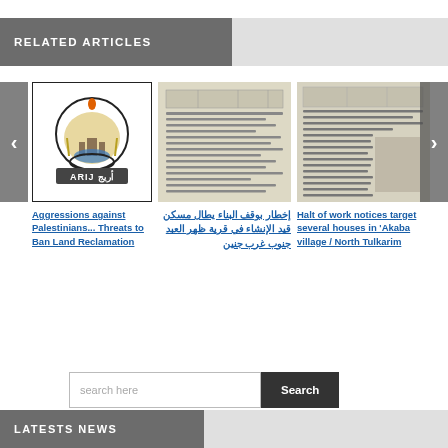RELATED ARTICLES
[Figure (screenshot): ARIJ organization logo with emblem]
Aggressions against Palestinians... Threats to Ban Land Reclamation
[Figure (photo): Photo of a document with Arabic text - halt of construction notice]
إخطار بوقف البناء يطال مسكن قيد الإنشاء في قرية ظهر العبد جنوب غرب جنين
[Figure (photo): Photo of a document with Hebrew text - work halt notices]
Halt of work notices target several houses in 'Akaba village / North Tulkarim
search here
LATESTS NEWS